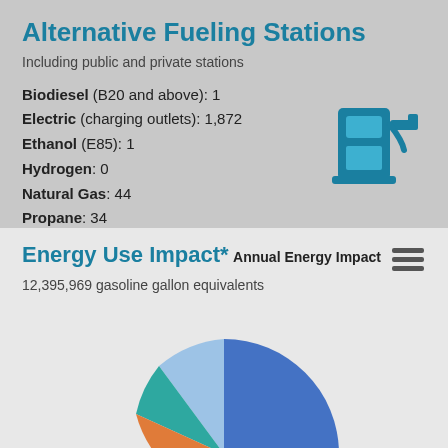Alternative Fueling Stations
Including public and private stations
Biodiesel (B20 and above): 1
Electric (charging outlets): 1,872
Ethanol (E85): 1
Hydrogen: 0
Natural Gas: 44
Propane: 34
[Figure (illustration): Blue fuel pump icon]
Energy Use Impact*
Annual Energy Impact
12,395,969 gasoline gallon equivalents
[Figure (pie-chart): Partial pie chart showing energy use breakdown by fuel type with multiple colored slices (blue, green, orange, teal, grey, blue-grey)]